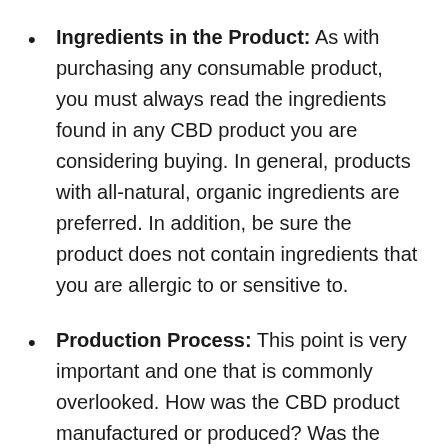Ingredients in the Product: As with purchasing any consumable product, you must always read the ingredients found in any CBD product you are considering buying. In general, products with all-natural, organic ingredients are preferred. In addition, be sure the product does not contain ingredients that you are allergic to or sensitive to.
Production Process: This point is very important and one that is commonly overlooked. How was the CBD product manufactured or produced? Was the CBD produced in a appropriate facility? Was the CBD extracted organically from hemp grown in America? How were the cannabinoids extracted from the plant? These are important points that